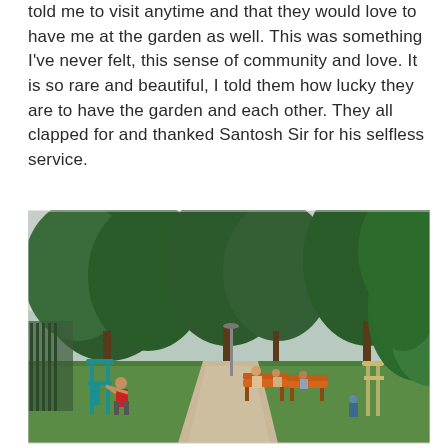told me to visit anytime and that they would love to have me at the garden as well. This was something I've never felt, this sense of community and love. It is so rare and beautiful, I told them how lucky they are to have the garden and each other. They all clapped for and thanked Santosh Sir for his selfless service.
[Figure (photo): Outdoor community garden/park with lush green trees, people sitting on orange benches, a man in a red shirt using outdoor exercise equipment on the left, and another exercise machine on the right. Pathway runs through the center with buildings visible in the background.]